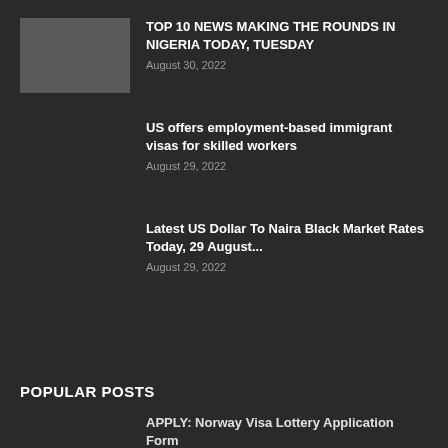TOP 10 NEWS MAKING THE ROUNDS IN NIGERIA TODAY, TUESDAY
August 30, 2022
US offers employment-based immigrant visas for skilled workers
August 29, 2022
Latest US Dollar To Naira Black Market Rates Today, 29 August...
August 29, 2022
POPULAR POSTS
APPLY: Norway Visa Lottery Application Form